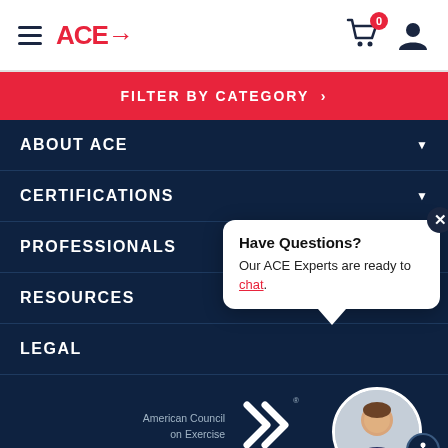ACE→
FILTER BY CATEGORY >
ABOUT ACE
CERTIFICATIONS
PROFESSIONALS
RESOURCES
LEGAL
[Figure (screenshot): Chat popup with 'Have Questions? Our ACE Experts are ready to chat.' message and advisor avatar]
[Figure (logo): American Council on Exercise logo with double arrow chevron]
American Council on Exercise